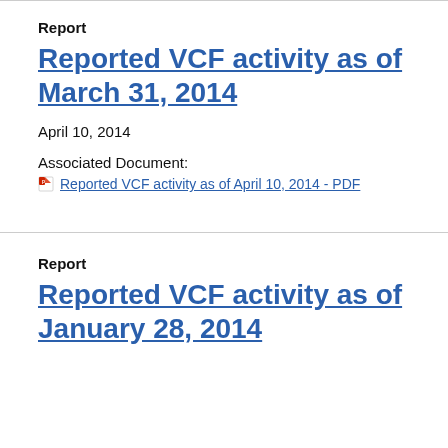Report
Reported VCF activity as of March 31, 2014
April 10, 2014
Associated Document:
Reported VCF activity as of April 10, 2014 - PDF
Report
Reported VCF activity as of January 28, 2014